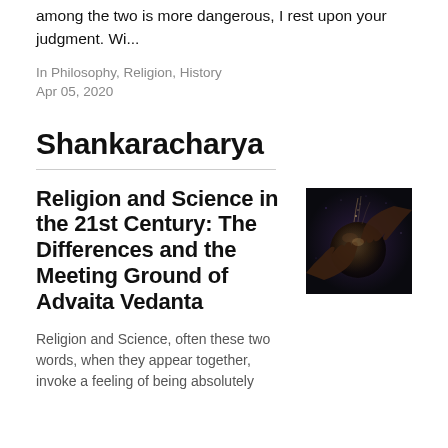among the two is more dangerous, I rest upon your judgment. Wi...
In Philosophy, Religion, History
Apr 05, 2020
Shankaracharya
Religion and Science in the 21st Century: The Differences and the Meeting Ground of Advaita Vedanta
[Figure (photo): Dark atmospheric image with two hands reaching toward each other over a dark spherical object, reminiscent of cosmic or spiritual imagery]
Religion and Science, often these two words, when they appear together, invoke a feeling of being absolutely...